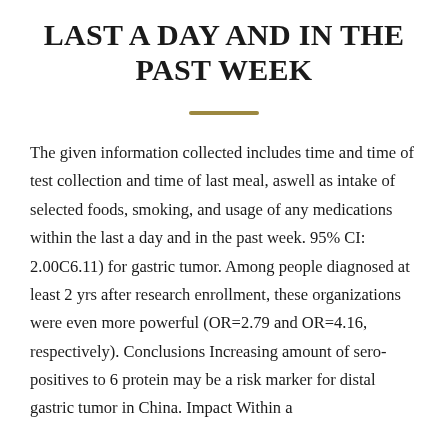LAST A DAY AND IN THE PAST WEEK
The given information collected includes time and time of test collection and time of last meal, aswell as intake of selected foods, smoking, and usage of any medications within the last a day and in the past week. 95% CI: 2.00C6.11) for gastric tumor. Among people diagnosed at least 2 yrs after research enrollment, these organizations were even more powerful (OR=2.79 and OR=4.16, respectively). Conclusions Increasing amount of sero-positives to 6 protein may be a risk marker for distal gastric tumor in China. Impact Within a